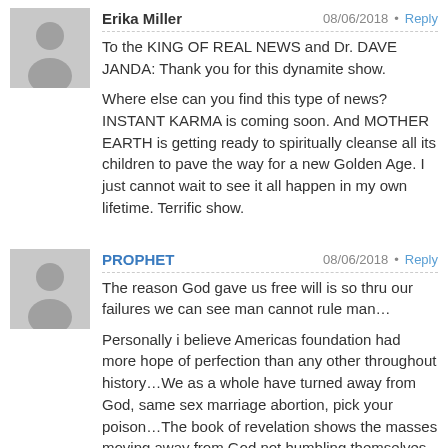[Figure (illustration): Grey avatar silhouette for user Erika Miller]
Erika Miller
08/06/2018 • Reply
To the KING OF REAL NEWS and Dr. DAVE JANDA: Thank you for this dynamite show. Where else can you find this type of news? INSTANT KARMA is coming soon. And MOTHER EARTH is getting ready to spiritually cleanse all its children to pave the way for a new Golden Age. I just cannot wait to see it all happen in my own lifetime. Terrific show.
[Figure (illustration): Grey avatar silhouette for user PROPHET]
PROPHET
08/06/2018 • Reply
The reason God gave us free will is so thru our failures we can see man cannot rule man… Personally i believe Americas foundation had more hope of perfection than any other throughout history…We as a whole have turned away from God, same sex marriage abortion, pick your poison…The book of revelation shows the masses moving away from God not humbling themselves before him…As far as Obama or Hillary going to prison, i dont see it happening….One thing i do know for sure , today is going to better than tomorrow…………Until our lord and savior comes